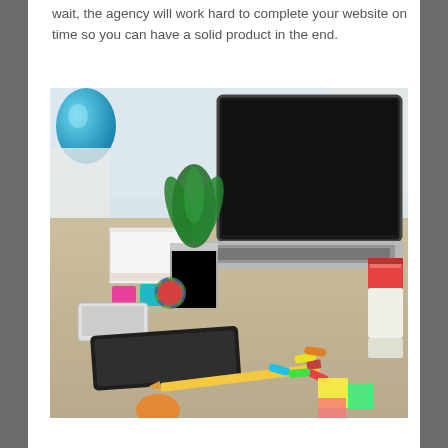wait, the agency will work hard to complete your website on time so you can have a solid product in the end.
[Figure (photo): A workspace desk with an open laptop showing a dark screen, a potted green plant in a silver metallic pot, a smartphone, a tablet, pink and teal colored blocks, a decorative ball, a yellow pencil, scattered colorful paper clips and sticky notes, and books on the right. A blue spherical lamp or decoration is visible in the upper left.]